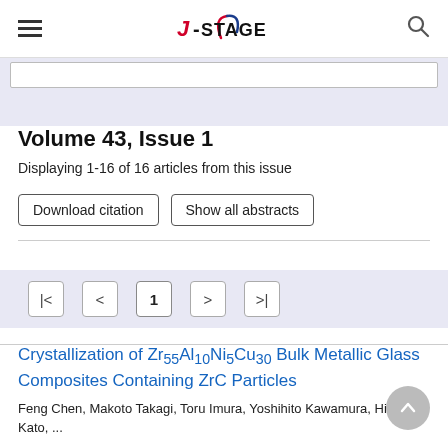J-STAGE
Volume 43, Issue 1
Displaying 1-16 of 16 articles from this issue
Download citation | Show all abstracts
Pagination: |< < 1 > >|
Crystallization of Zr55Al10Ni5Cu30 Bulk Metallic Glass Composites Containing ZrC Particles
Feng Chen, Makoto Takagi, Toru Imura, Yoshihito Kawamura, Hidemi Kato, ...